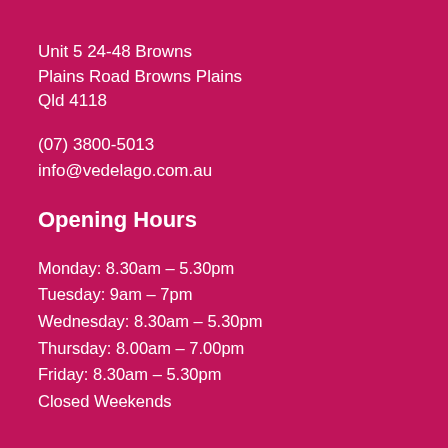Unit 5 24-48 Browns Plains Road Browns Plains Qld 4118
(07) 3800-5013
info@vedelago.com.au
Opening Hours
Monday: 8.30am – 5.30pm
Tuesday: 9am – 7pm
Wednesday: 8.30am – 5.30pm
Thursday: 8.00am – 7.00pm
Friday: 8.30am – 5.30pm
Closed Weekends